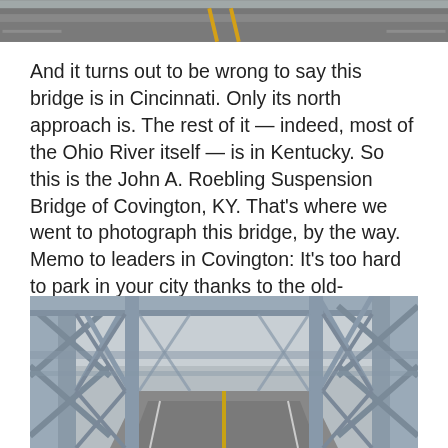[Figure (photo): Top portion of a road/highway photo showing asphalt with yellow center lines, cropped at top of page]
And it turns out to be wrong to say this bridge is in Cincinnati. Only its north approach is. The rest of it — indeed, most of the Ohio River itself — is in Kentucky. So this is the John A. Roebling Suspension Bridge of Covington, KY. That's where we went to photograph this bridge, by the way. Memo to leaders in Covington: It's too hard to park in your city thanks to the old-fashioned coin parking meters. Who carries change anymore?
[Figure (photo): Photo of the John A. Roebling Suspension Bridge interior structure showing blue steel trusses and girders with a road running through the center, taken from a perspective looking down the bridge deck]